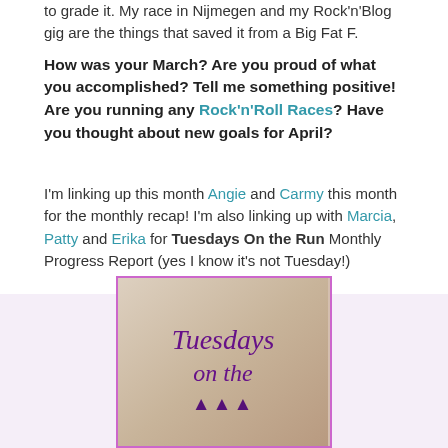to grade it.  My race in Nijmegen and my Rock’n’Blog gig are the things that saved it from a Big Fat F.
How was your March?  Are you proud of what you accomplished? Tell me something positive!  Are you running any Rock’n’Roll Races? Have you thought about new goals for April?
I’m linking up this month Angie and Carmy this month for the monthly recap!  I’m also linking up with Marcia, Patty and Erika for Tuesdays On the Run Monthly Progress Report (yes I know it’s not Tuesday!)
[Figure (photo): Image with cursive text reading 'Tuesdays on the Run' written on sand background, with purple border]